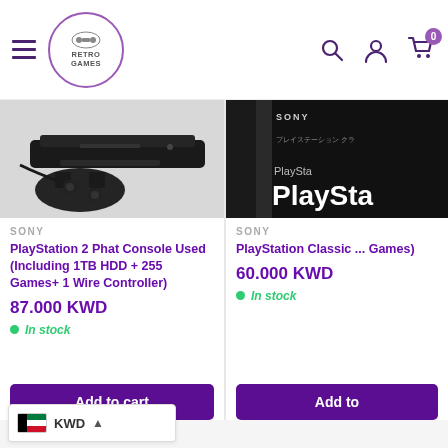Retro Games — navigation header with hamburger menu, logo, search, account, cart icons
[Figure (photo): PlayStation 2 Phat console with controller, black, partially visible]
SONY
PlayStation 2 Phat Console Used (Including 1TB HDD + 255 Games+ 1 Wire Controller)
87.000 KWD
In stock
Add to cart
[Figure (photo): PlayStation Classic box, partially cropped on right side]
SONY
PlayStation Classic ... Games)
60.000 KWD
In stock
Add to
KWD currency selector with Kuwait flag